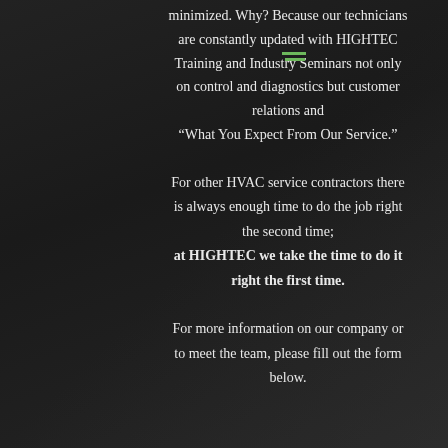minimized. Why? Because our technicians are constantly updated with HIGHTEC Training and Industry Seminars not only on control and diagnostics but customer relations and “What You Expect From Our Service.”
For other HVAC service contractors there is always enough time to do the job right the second time; at HIGHTEC we take the time to do it right the first time.
For more information on our company or to meet the team, please fill out the form below.